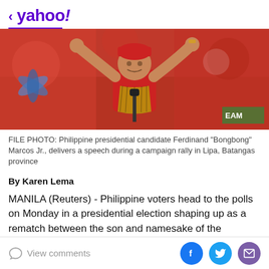< yahoo!
[Figure (photo): Philippine presidential candidate Ferdinand 'Bongbong' Marcos Jr. raising both arms at a campaign rally, wearing a red polo shirt and a woven scarf/stole, standing at a microphone with a red background and crowd.]
FILE PHOTO: Philippine presidential candidate Ferdinand "Bongbong" Marcos Jr., delivers a speech during a campaign rally in Lipa, Batangas province
By Karen Lema
MANILA (Reuters) - Philippine voters head to the polls on Monday in a presidential election shaping up as a rematch between the son and namesake of the country's
View comments